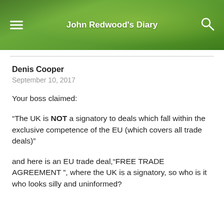John Redwood's Diary
Denis Cooper
September 10, 2017
Your boss claimed:
“The UK is NOT a signatory to deals which fall within the exclusive competence of the EU (which covers all trade deals)”
and here is an EU trade deal,“FREE TRADE AGREEMENT ”, where the UK is a signatory, so who is it who looks silly and uninformed?